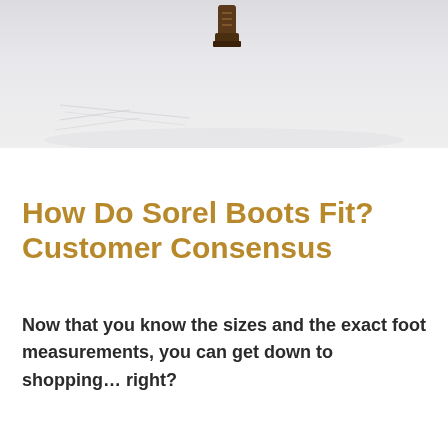[Figure (photo): Top portion of a snowy outdoor scene with what appears to be a boot or dark object visible at the upper center, set against a light grey/white snowy background with faint tracks visible.]
How Do Sorel Boots Fit? Customer Consensus
Now that you know the sizes and the exact foot measurements, you can get down to shopping… right?